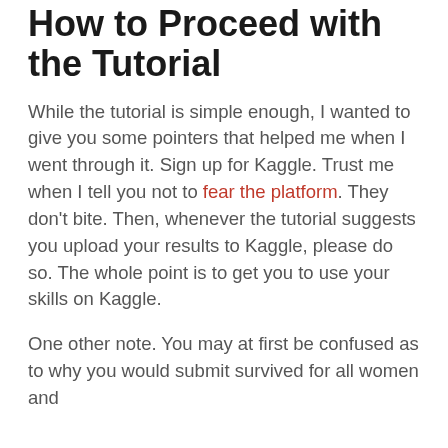How to Proceed with the Tutorial
While the tutorial is simple enough, I wanted to give you some pointers that helped me when I went through it. Sign up for Kaggle. Trust me when I tell you not to fear the platform. They don't bite. Then, whenever the tutorial suggests you upload your results to Kaggle, please do so. The whole point is to get you to use your skills on Kaggle.
One other note. You may at first be confused as to why you would submit survived for all women and men and what for all men. The point...